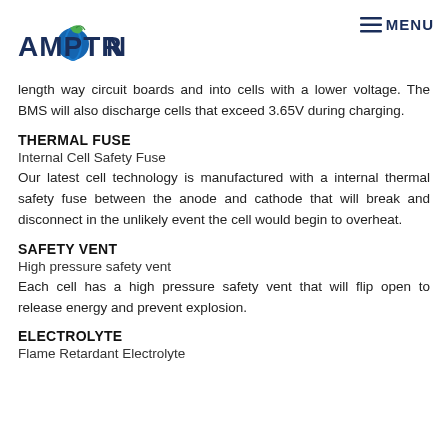AMPTRON | ≡MENU
length way circuit boards and into cells with a lower voltage. The BMS will also discharge cells that exceed 3.65V during charging.
THERMAL FUSE
Internal Cell Safety Fuse
Our latest cell technology is manufactured with a internal thermal safety fuse between the anode and cathode that will break and disconnect in the unlikely event the cell would begin to overheat.
SAFETY VENT
High pressure safety vent
Each cell has a high pressure safety vent that will flip open to release energy and prevent explosion.
ELECTROLYTE
Flame Retardant Electrolyte